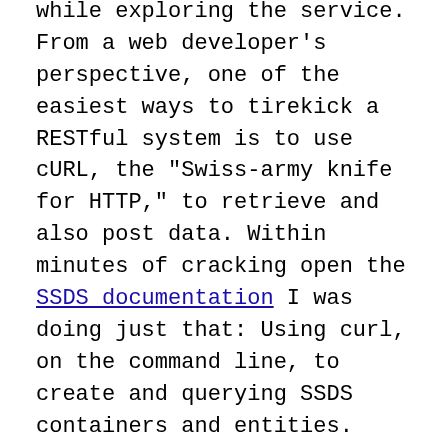while exploring the service. From a web developer's perspective, one of the easiest ways to tirekick a RESTful system is to use cURL, the "Swiss-army knife for HTTP," to retrieve and also post data. Within minutes of cracking open the SSDS documentation I was doing just that: Using curl, on the command line, to create and querying SSDS containers and entities.
Of course there are other ways. The SSDS SDK beta released last week, for example, includes several handy tools. One is the browser-like SSDS Explorer, which enables you to navigate around in SSDS data space, create and delete containers and entities, run queries, and view the underlying HTTP requests and responses. The other is a command-line tool that you can use to automate those interactions.
But the cURL experience is worth mentioning because it underscores how the emerging